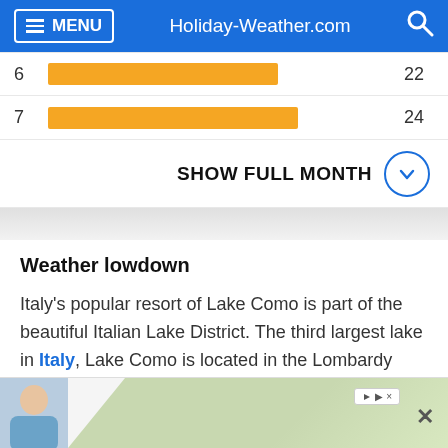MENU | Holiday-Weather.com
[Figure (bar-chart): Sunshine hours partial view]
SHOW FULL MONTH
Weather lowdown
Italy's popular resort of Lake Como is part of the beautiful Italian Lake District. The third largest lake in Italy, Lake Como is located in the Lombardy region, in the north of the country.
Lake Como has a typically Mediterranean climate with